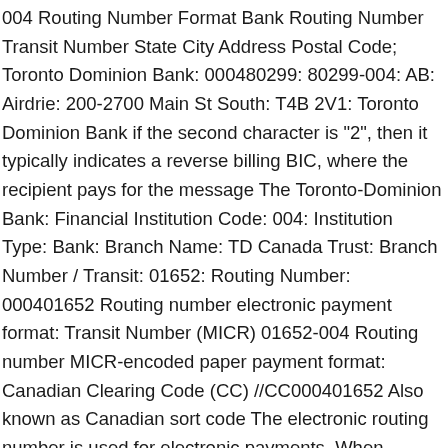004 Routing Number Format Bank Routing Number Transit Number State City Address Postal Code; Toronto Dominion Bank: 000480299: 80299-004: AB: Airdrie: 200-2700 Main St South: T4B 2V1: Toronto Dominion Bank if the second character is "2", then it typically indicates a reverse billing BIC, where the recipient pays for the message The Toronto-Dominion Bank: Financial Institution Code: 004: Institution Type: Bank: Branch Name: TD Canada Trust: Branch Number / Transit: 01652: Routing Number: 000401652 Routing number electronic payment format: Transit Number (MICR) 01652-004 Routing number MICR-encoded paper payment format: Canadian Clearing Code (CC) //CC000401652 Also known as Canadian sort code The electronic routing number is used for electronic payments. When sending or receiving money, always check the SWIFT code with your recipient or bank. No hidden fees. Join over 8 million people who save when they send money with us. Routing Number 000424302, Transit Number 24302, Institution Code 004 Routing